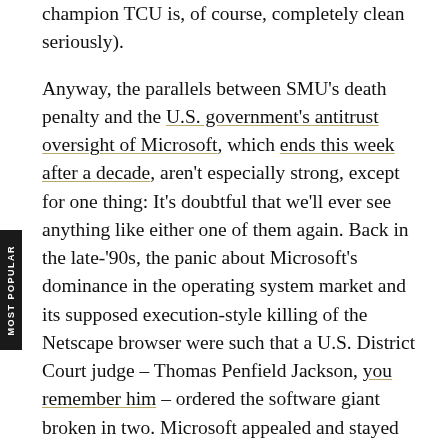champion TCU is, of course, completely clean seriously).
Anyway, the parallels between SMU's death penalty and the U.S. government's antitrust oversight of Microsoft, which ends this week after a decade, aren't especially strong, except for one thing: It's doubtful that we'll ever see anything like either one of them again. Back in the late-'90s, the panic about Microsoft's dominance in the operating system market and its supposed execution-style killing of the Netscape browser were such that a U.S. District Court judge – Thomas Penfield Jackson, you remember him – ordered the software giant broken in two. Microsoft appealed and stayed intact, but the government watched it like a hawk for the following decade. And many industry firms lined up to make to make Microsoft look only slightly more dominant and suffocating with power than Genghis Khan.